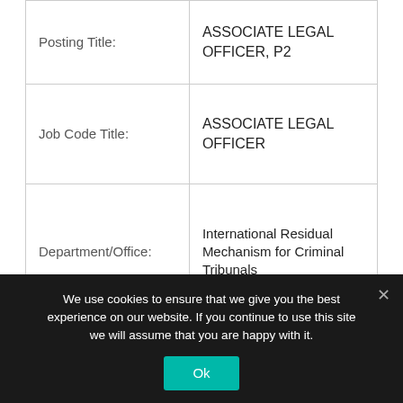| Field | Value |
| --- | --- |
| Posting Title: | ASSOCIATE LEGAL OFFICER, P2 |
| Job Code Title: | ASSOCIATE LEGAL OFFICER |
| Department/Office: | International Residual Mechanism for Criminal Tribunals |
| Duty Station: | THE HAGUE |
| Posting Period: | 26 October 2021 – 24 November 2021 |
We use cookies to ensure that we give you the best experience on our website. If you continue to use this site we will assume that you are happy with it.